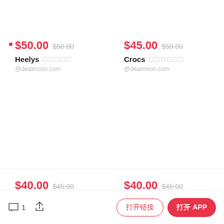$50.00  $50.00  Heelys  ★★★★★  @dealmoon.com
$45.00  $50.00  Crocs  ★★★★★★  @dealmoon.com
$40.00  $45.00
$40.00  $45.00
💬 1   ↑   打开链接   打开 APP